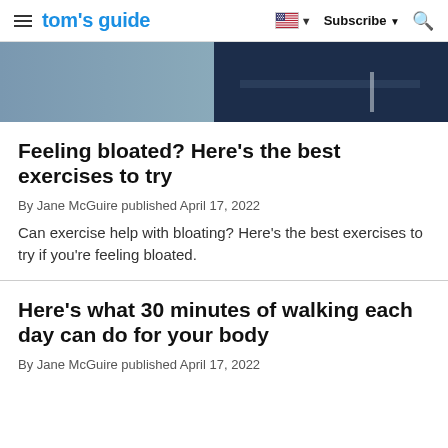tom's guide — Subscribe
[Figure (photo): Partial photo of person in dark navy athletic shorts/leggings, cropped at waist]
Feeling bloated? Here's the best exercises to try
By Jane McGuire published April 17, 2022
Can exercise help with bloating? Here's the best exercises to try if you're feeling bloated.
Here's what 30 minutes of walking each day can do for your body
By Jane McGuire published April 17, 2022